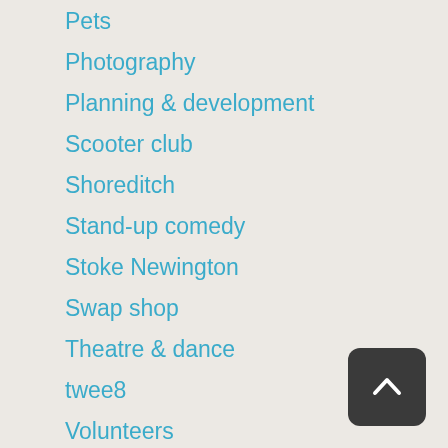Pets
Photography
Planning & development
Scooter club
Shoreditch
Stand-up comedy
Stoke Newington
Swap shop
Theatre & dance
twee8
Volunteers
Walks talks & tours
Words, print & pages
Workshops
[Figure (other): Back to top button — dark rounded square with upward chevron arrow icon]